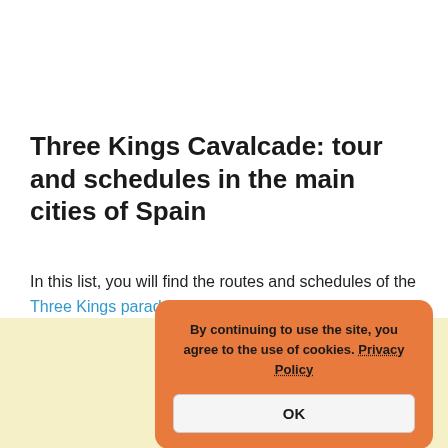Three Kings Cavalcade: tour and schedules in the main cities of Spain
In this list, you will find the routes and schedules of the Three Kings parades in the main cities of Spain, as well as details about the floats, the gifts that will take His Majesties, Melchor, Gaspar, and Baltasar, his entourage, the pages and heralds and celebrations of Christmas.
By continuing to use the site, you agree to the use of cookies. Privacy Policy OK